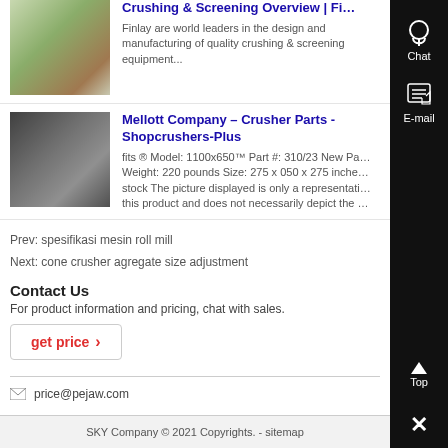[Figure (photo): Thumbnail image of a building with trees]
Crushing & Screening Overview | Fi…
Finlay are world leaders in the design and manufacturing of quality crushing & screening equipment...
[Figure (photo): Thumbnail image of a factory interior with machinery]
Mellott Company – Crusher Parts - Shopcrushers-Plus
fits ® Model: 1100x650™ Part #: 310/23 New Pa… Weight: 220 pounds Size: 275 x 050 x 275 inche… stock The picture displayed is only a representati… this product and does not necessarily depict the …
Prev: spesifikasi mesin roll mill
Next: cone crusher agregate size adjustment
Contact Us
For product information and pricing, chat with sales.
get price ›
price@pejaw.com
SKY Company © 2021 Copyrights. - sitemap